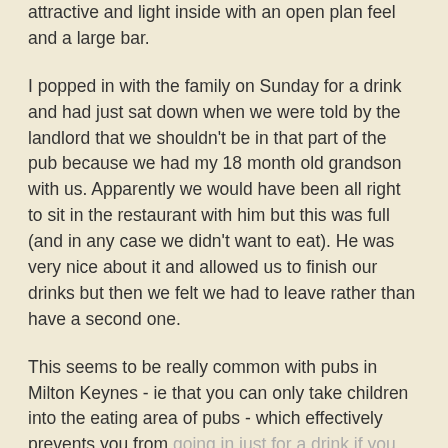attractive and light inside with an open plan feel and a large bar.
I popped in with the family on Sunday for a drink and had just sat down when we were told by the landlord that we shouldn't be in that part of the pub because we had my 18 month old grandson with us. Apparently we would have been all right to sit in the restaurant with him but this was full (and in any case we didn't want to eat). He was very nice about it and allowed us to finish our drinks but then we felt we had to leave rather than have a second one.
This seems to be really common with pubs in Milton Keynes - ie that you can only take children into the eating area of pubs - which effectively prevents you from going in just for a drink if you have children with you (especially on a Sunday lunchtime!) Surely if pubs market themselves as family...